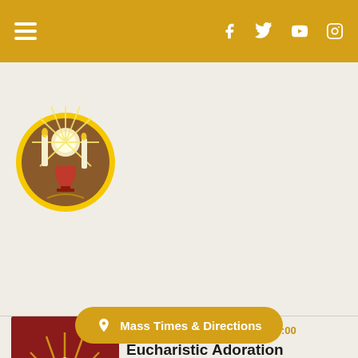Navigation header with hamburger menu and social icons: Facebook, Twitter, YouTube, Instagram
[Figure (illustration): Circular illustration of Eucharistic scene with candles, chalice, and radiating host on warm brown background with yellow circle border]
Tuesday, September 20, 2022, 9:00
Eucharistic Adoration
[Figure (photo): Close-up photo of a gold monstrance with sunburst rays and ornate white circular center on a red background]
Wednesday, September 21, 2022, 9:
Eu
[Figure (photo): Close-up photo of a gold monstrance with sunburst rays on a red background, partially visible]
Mass Times & Directions